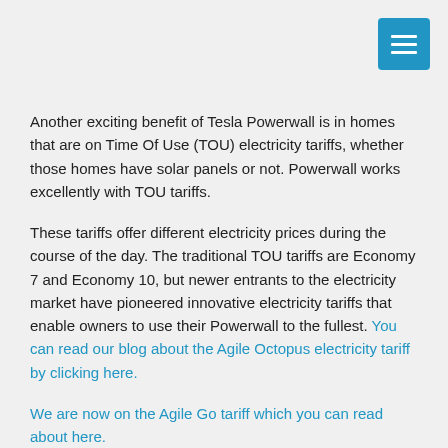[Figure (other): Blue hamburger menu button with three white horizontal lines]
Another exciting benefit of Tesla Powerwall is in homes that are on Time Of Use (TOU) electricity tariffs, whether those homes have solar panels or not. Powerwall works excellently with TOU tariffs.
These tariffs offer different electricity prices during the course of the day. The traditional TOU tariffs are Economy 7 and Economy 10, but newer entrants to the electricity market have pioneered innovative electricity tariffs that enable owners to use their Powerwall to the fullest. You can read our blog about the Agile Octopus electricity tariff by clicking here.
We are now on the Agile Go tariff which you can read about here.
Keep your home going during a power blackout
During power cuts Powerwall will automatically keep your